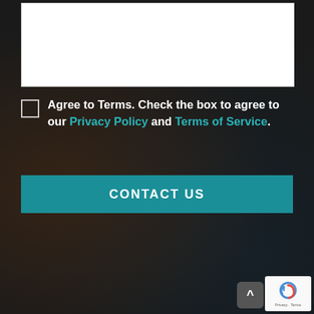[Figure (screenshot): White form input area (text area or form field)]
Agree to Terms. Check the box to agree to our Privacy Policy and Terms of Service.
[Figure (other): CONTACT US button in teal/dark cyan color]
[Figure (other): Scroll to top arrow button (grey, rounded corners) and reCAPTCHA badge in bottom right corner]